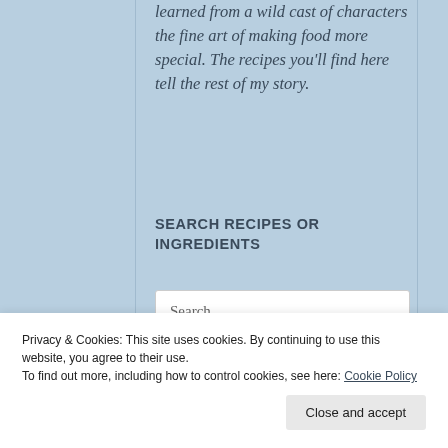learned from a wild cast of characters the fine art of making food more special. The recipes you'll find here tell the rest of my story.
SEARCH RECIPES OR INGREDIENTS
Search ...
Privacy & Cookies: This site uses cookies. By continuing to use this website, you agree to their use. To find out more, including how to control cookies, see here: Cookie Policy
Close and accept
Not Quite Pizza Sauce